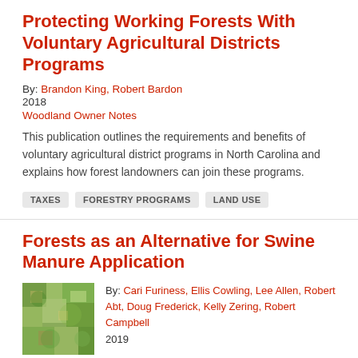Protecting Working Forests With Voluntary Agricultural Districts Programs
By: Brandon King, Robert Bardon
2018
Woodland Owner Notes
This publication outlines the requirements and benefits of voluntary agricultural district programs in North Carolina and explains how forest landowners can join these programs.
TAXES
FORESTRY PROGRAMS
LAND USE
Forests as an Alternative for Swine Manure Application
[Figure (photo): Aerial or satellite view of a forested area with colorful tree canopy.]
By: Cari Furiness, Ellis Cowling, Lee Allen, Robert Abt, Doug Frederick, Kelly Zering, Robert Campbell
2019